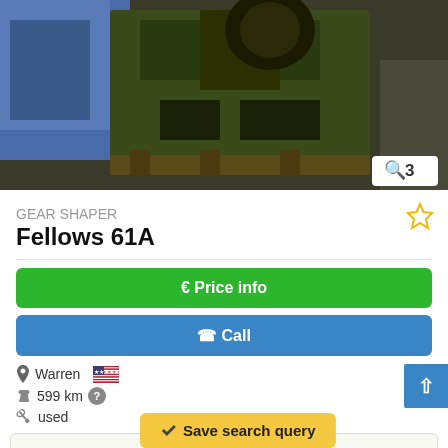[Figure (photo): Industrial gear shaper machine (Fellows 61A) in a warehouse setting with blue tarp visible, dark olive-colored heavy machinery on a pallet]
GEAR SHAPER
Fellows 61A
€ Price info
✆ Call
Warren 🇺🇸
599 km ?
used
FELLOWS 61A GEAR SHAPER S/N 24141 Na2thl STANDAR... al & Internal Ri... Max
Save search query